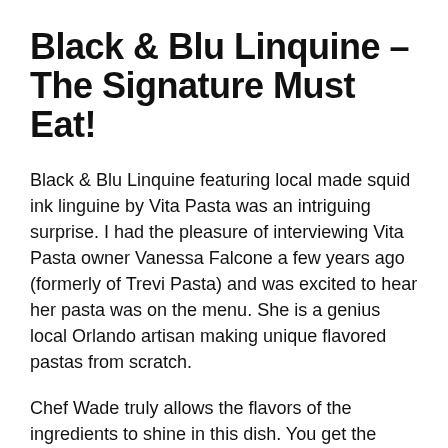Black & Blu Linquine – The Signature Must Eat!
Black & Blu Linquine featuring local made squid ink linguine by Vita Pasta was an intriguing surprise. I had the pleasure of interviewing Vita Pasta owner Vanessa Falcone a few years ago (formerly of Trevi Pasta) and was excited to hear her pasta was on the menu. She is a genius local Orlando artisan making unique flavored pastas from scratch.
Chef Wade truly allows the flavors of the ingredients to shine in this dish. You get the striking black color and salty notes of the sea in the pasta which is lightly dressed in a scampi style with white wine and butter. Succulent jumbo lump blue crab adds the "blu" note. Cherry tomatoes, fresh arugula, Parmegiano and